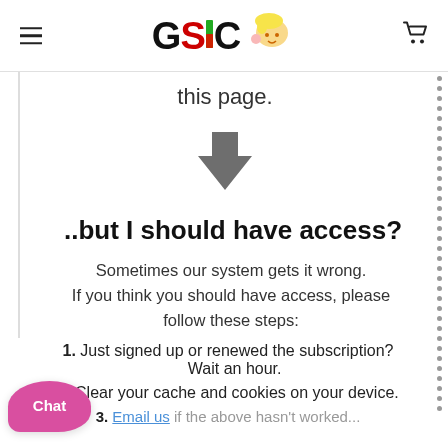GSIC [logo with chart bars and illustration]
this page.
[Figure (illustration): A large downward-pointing arrow in dark gray]
..but I should have access?
Sometimes our system gets it wrong. If you think you should have access, please follow these steps:
1. Just signed up or renewed the subscription? Wait an hour.
2. Clear your cache and cookies on your device.
3. Email us if the above hasn't worked...